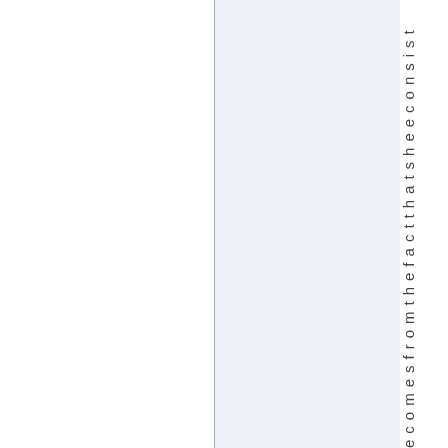ecomesfromthefactthatsheeconsistr